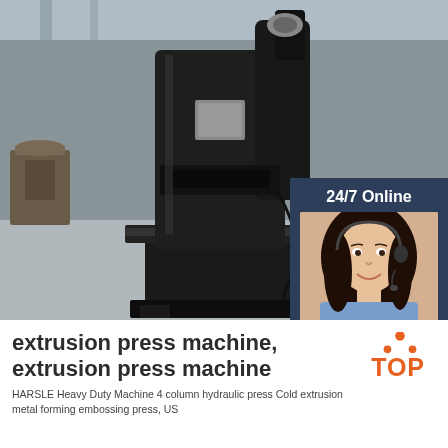[Figure (photo): Industrial extrusion press machine, large black heavy-duty hydraulic press in a factory/warehouse setting. A customer service sidebar overlay in dark blue shows '24/7 Online' text, a woman with headset, 'Click here for free chat!' and an orange QUOTATION button.]
extrusion press machine, extrusion press machine
[Figure (logo): Orange triangle/dots TOP logo]
HARSLE Heavy Duty Machine 4 column hydraulic press Cold extrusion metal forming embossing press, US